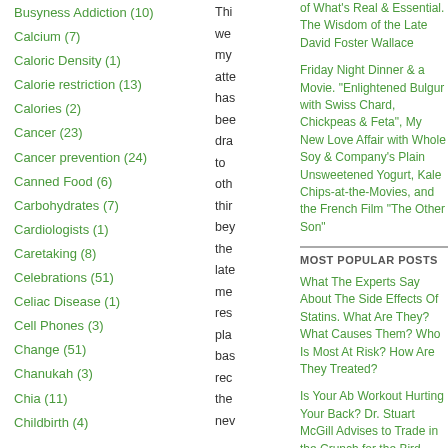Busyness Addiction (10)
Calcium (7)
Caloric Density (1)
Calorie restriction (13)
Calories (2)
Cancer (23)
Cancer prevention (24)
Canned Food (6)
Carbohydrates (7)
Cardiologists (1)
Caretaking (8)
Celebrations (51)
Celiac Disease (1)
Cell Phones (3)
Change (51)
Chanukah (3)
Chia (11)
Childbirth (4)
Thi we my atte has bee dra to oth thir bey the late me res pla bas rec the nev
of What's Real & Essential. The Wisdom of the Late David Foster Wallace
Friday Night Dinner & a Movie. "Enlightened Bulgur with Swiss Chard, Chickpeas & Feta", My New Love Affair with Whole Soy & Company's Plain Unsweetened Yogurt, Kale Chips-at-the-Movies, and the French Film "The Other Son"
MOST POPULAR POSTS
What The Experts Say About The Side Effects Of Statins. What Are They? What Causes Them? Who Is Most At Risk? How Are They Treated?
Is Your Ab Workout Hurting Your Back? Dr. Stuart McGill Advises to Trade in the Crunch for the Bird Dog, Side Bridge, & Stir the Pot
Caroline Adams Miller's Ten Non-Negotiable Pearls to a Life Well-Lived - Successful Balanced Happy. And the Possible Dementia Vitamin D Connection
Dr. David Kessler, Former FDA